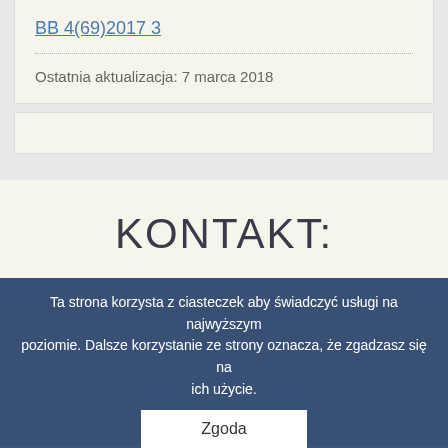BB 4(69)2017 3
Ostatnia aktualizacja: 7 marca 2018
KONTAKT:
ul. ks. Ignacego Jana Skórупki 4
00-546 Warszawa
22-58-30-700
22-58-30-701
Ta strona korzysta z ciasteczek aby świadczyć usługi na najwyższym poziomie. Dalsze korzystanie ze strony oznacza, że zgadzasz się na ich użycie.